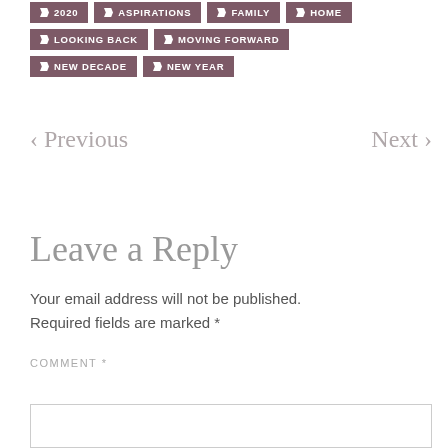2020
ASPIRATIONS
FAMILY
HOME
LOOKING BACK
MOVING FORWARD
NEW DECADE
NEW YEAR
< Previous
Next >
Leave a Reply
Your email address will not be published. Required fields are marked *
COMMENT *